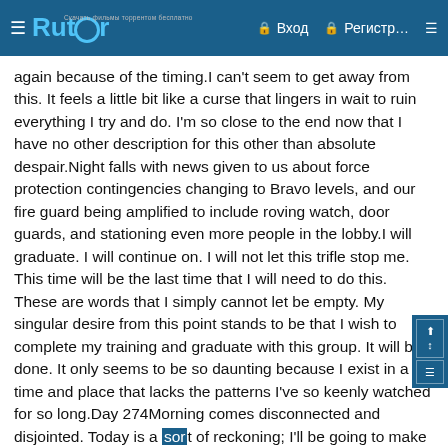Rutor — Вход — Регистр…
again because of the timing.I can't seem to get away from this. It feels a little bit like a curse that lingers in wait to ruin everything I try and do. I'm so close to the end now that I have no other description for this other than absolute despair.Night falls with news given to us about force protection contingencies changing to Bravo levels, and our fire guard being amplified to include roving watch, door guards, and stationing even more people in the lobby.I will graduate. I will continue on. I will not let this trifle stop me. This time will be the last time that I will need to do this. These are words that I simply cannot let be empty. My singular desire from this point stands to be that I wish to complete my training and graduate with this group. It will be done. It only seems to be so daunting because I exist in a time and place that lacks the patterns I've so keenly watched for so long.Day 274Morning comes disconnected and disjointed. Today is a sort of reckoning; I'll be going to make my case in front of a second opinion in order to try and complete my training.It's a familiar melancholy, being back in a status where I'm not allowed to do anything. There's literally a single training event left and I'm